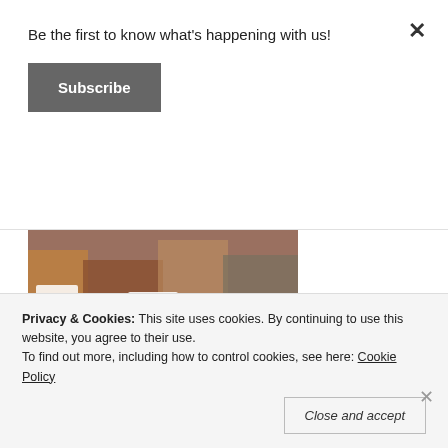Be the first to know what's happening with us!
Subscribe
[Figure (photo): Group of young people wearing white TMO t-shirts sitting at a table, with a pink bag visible. Social media card style image.]
teensmeetonline.com
Donate
Privacy & Cookies: This site uses cookies. By continuing to use this website, you agree to their use.
To find out more, including how to control cookies, see here: Cookie Policy
Close and accept